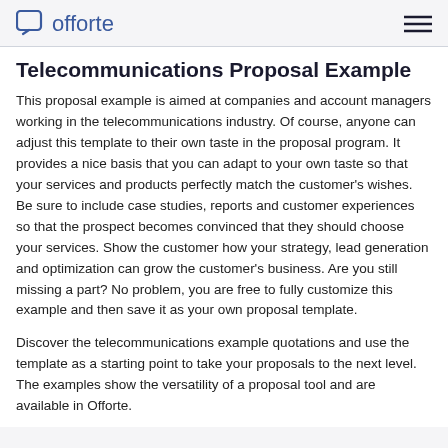offorte
Telecommunications Proposal Example
This proposal example is aimed at companies and account managers working in the telecommunications industry. Of course, anyone can adjust this template to their own taste in the proposal program. It provides a nice basis that you can adapt to your own taste so that your services and products perfectly match the customer's wishes. Be sure to include case studies, reports and customer experiences so that the prospect becomes convinced that they should choose your services. Show the customer how your strategy, lead generation and optimization can grow the customer's business. Are you still missing a part? No problem, you are free to fully customize this example and then save it as your own proposal template.
Discover the telecommunications example quotations and use the template as a starting point to take your proposals to the next level. The examples show the versatility of a proposal tool and are available in Offorte.